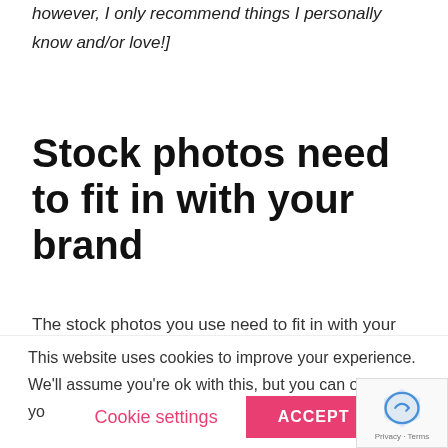however, I only recommend things I personally know and/or love!]
Stock photos need to fit in with your brand
The stock photos you use need to fit in with your brand. On a basic level, this is often seen as picking a photo that matches your branding colours. This can work, if you're simply after uniformity on your
This website uses cookies to improve your experience. We'll assume you're ok with this, but you can opt-out if yo
Cookie settings   ACCEPT